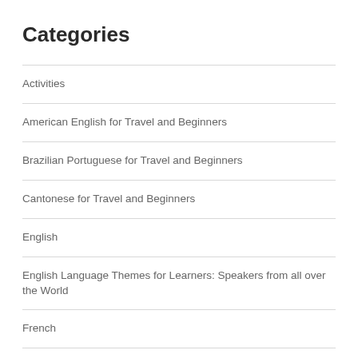Categories
Activities
American English for Travel and Beginners
Brazilian Portuguese for Travel and Beginners
Cantonese for Travel and Beginners
English
English Language Themes for Learners: Speakers from all over the World
French
French Conversations for Beginners